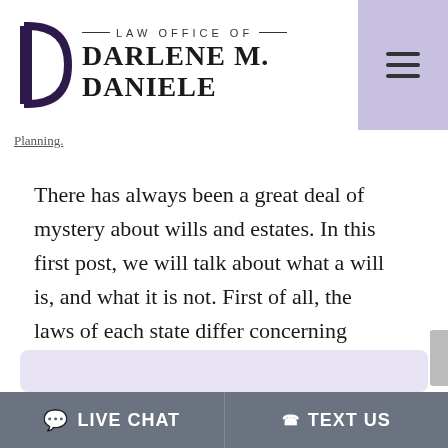LAW OFFICE OF DARLENE M. DANIELE
Planning.
There has always been a great deal of mystery about wills and estates. In this first post, we will talk about what a will is, and what it is not. First of all, the laws of each state differ concerning wills; to minimize confusion, we will focus on New Hampshire law....
LIVE CHAT   TEXT US